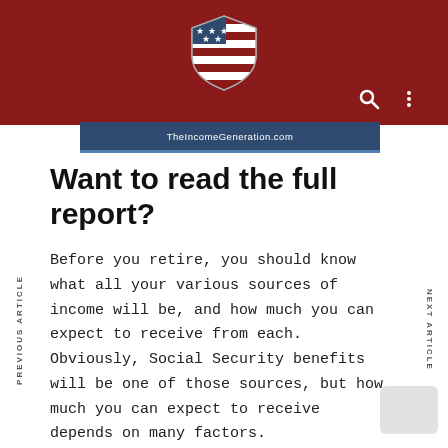[Figure (logo): Red/dark header bar with patriotic shield logo (stars and stripes), search and menu icons on the right]
[Figure (screenshot): Blue banner with text TheIncomeGeneration.com]
Want to read the full report?
Before you retire, you should know what all your various sources of income will be, and how much you can expect to receive from each. Obviously, Social Security benefits will be one of those sources, but how much you can expect to receive depends on many factors.
PREVIOUS ARTICLE
NEXT ARTICLE